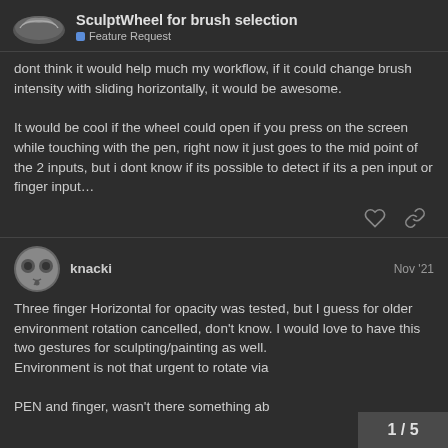SculptWheel for brush selection | Feature Request
dont think it would help much my workflow, if it could change brush intensity with sliding horizontally, it would be awesome.

It would be cool if the wheel could open if you press on the screen while touching with the pen, right now it just goes to the mid point of the 2 inputs, but i dont know if its possible to detect if its a pen input or finger input…
knacki  Nov '21
Three finger Horizontal for opacity was tested, but I guess for older environment rotation cancelled, don't know. I would love to have this two gestures for sculpting/painting as well.
Environment is not that urgent to rotate via

PEN and finger, wasn't there something ab
1 / 5